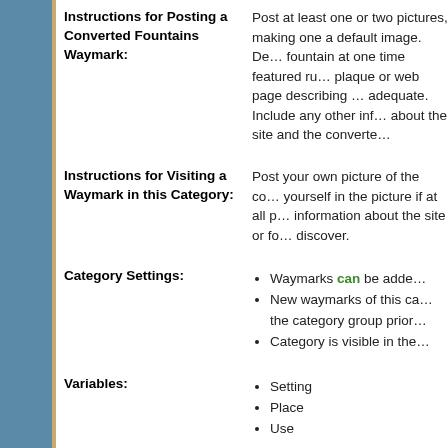Instructions for Posting a Converted Fountains Waymark: Post at least one or two pictures, making one a default image. Describe how the fountain at one time featured running water. A plaque or web page describing the fountain is adequate. Include any other information you can about the site and the converted fountain.
Instructions for Visiting a Waymark in this Category: Post your own picture of the converted fountain, yourself in the picture if at all possible. Include information about the site or fountain that you discover.
Category Settings:
Waymarks can be added
New waymarks of this category need approval by the category group prior...
Category is visible in the...
Variables:
Setting
Place
Use